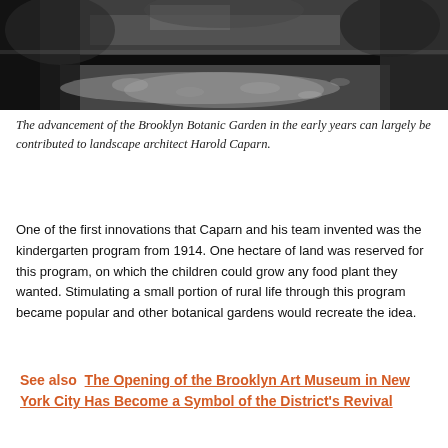[Figure (photo): Black and white photograph of a garden path or walkway flanked by trees and foliage, with dappled light on the ground. Historical image of Brooklyn Botanic Garden.]
The advancement of the Brooklyn Botanic Garden in the early years can largely be contributed to landscape architect Harold Caparn.
One of the first innovations that Caparn and his team invented was the kindergarten program from 1914. One hectare of land was reserved for this program, on which the children could grow any food plant they wanted. Stimulating a small portion of rural life through this program became popular and other botanical gardens would recreate the idea.
See also  The Opening of the Brooklyn Art Museum in New York City Has Become a Symbol of the District's Revival